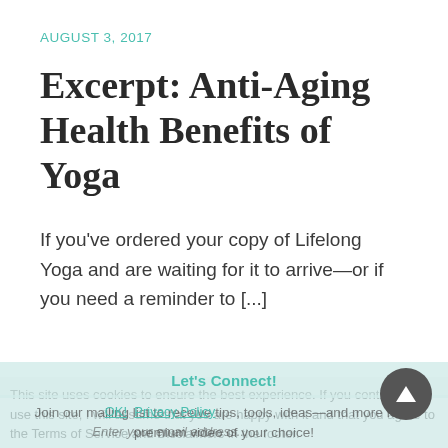AUGUST 3, 2017
Excerpt: Anti-Aging Health Benefits of Yoga
If you've ordered your copy of Lifelong Yoga and are waiting for it to arrive—or if you need a reminder to [...]
Let's Connect!
Join our mailing list to receive tips, tools, ideas—and more for a premium video of your choice!
This site uses cookies to ensure the best experience. If you continue to use this site, I will assume that you are happy with it and that you agree to the Terms of Service and Disclaimers in the footer.
OK!  Privacy Policy
Enter your email address...